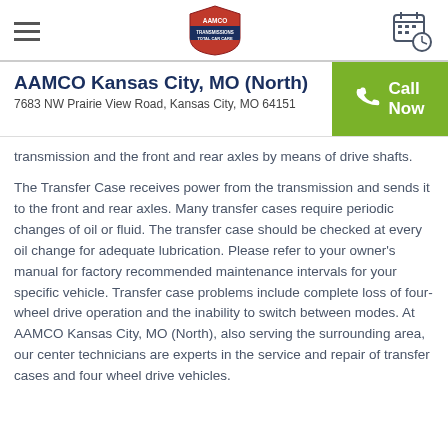AAMCO Kansas City, MO (North) — navigation header with logo and calendar icon
AAMCO Kansas City, MO (North)
7683 NW Prairie View Road, Kansas City, MO 64151
transmission and the front and rear axles by means of drive shafts.
The Transfer Case receives power from the transmission and sends it to the front and rear axles. Many transfer cases require periodic changes of oil or fluid. The transfer case should be checked at every oil change for adequate lubrication. Please refer to your owner's manual for factory recommended maintenance intervals for your specific vehicle. Transfer case problems include complete loss of four-wheel drive operation and the inability to switch between modes. At  AAMCO Kansas City, MO (North), also serving the surrounding area,  our center technicians are experts in the service and repair of transfer cases and four wheel drive vehicles.